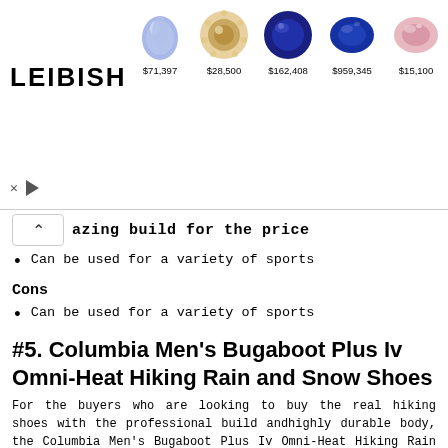[Figure (other): LEIBISH jewelry ad banner showing 5 gemstones with prices: $71,397 (blue pear), $28,500 (champagne round), $162,408 (deep blue round), $959,345 (blue oval), $15,100 (pink oval)]
amazing build for the price
Can be used for a variety of sports
Cons
Can be used for a variety of sports
#5. Columbia Men's Bugaboot Plus Iv Omni-Heat Hiking Rain and Snow Shoes
For the buyers who are looking to buy the real hiking shoes with the professional build andhighly durable body, the Columbia Men's Bugaboot Plus Iv Omni-Heat Hiking Rain and Snow Shoes will be the best product to go with. Made up of durable and efficient rubber soles